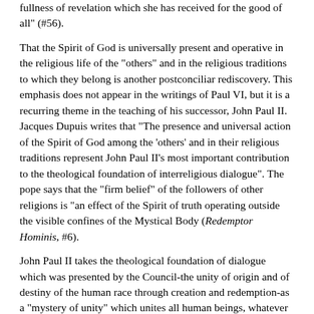fullness of revelation which she has received for the good of all" (#56).
That the Spirit of God is universally present and operative in the religious life of the "others" and in the religious traditions to which they belong is another postconciliar rediscovery. This emphasis does not appear in the writings of Paul VI, but it is a recurring theme in the teaching of his successor, John Paul II. Jacques Dupuis writes that "The presence and universal action of the Spirit of God among the 'others' and in their religious traditions represent John Paul II's most important contribution to the theological foundation of interreligious dialogue". The pope says that the "firm belief" of the followers of other religions is "an effect of the Spirit of truth operating outside the visible confines of the Mystical Body (Redemptor Hominis, #6).
John Paul II takes the theological foundation of dialogue which was presented by the Council-the unity of origin and of destiny of the human race through creation and redemption-as a "mystery of unity" which unites all human beings, whatever the differences in their circumstances might be: "The differences are a less important element than the unity which, by contrast, is radical, basic, and decisive" (#3). This universal unity, he writes, "based on the event of creation and redemption, cannot but leave a trace in the reality lived by human beings, even those belonging to different religions" (#7).